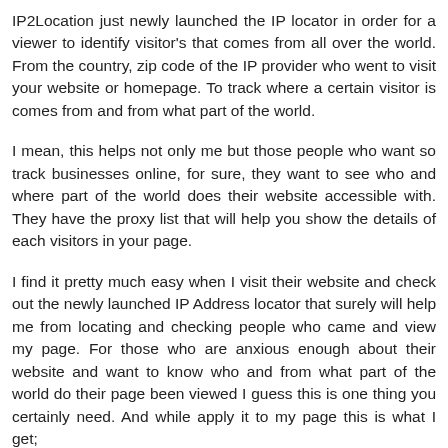IP2Location just newly launched the IP locator in order for a viewer to identify visitor's that comes from all over the world. From the country, zip code of the IP provider who went to visit your website or homepage. To track where a certain visitor is comes from and from what part of the world.
I mean, this helps not only me but those people who want so track businesses online, for sure, they want to see who and where part of the world does their website accessible with. They have the proxy list that will help you show the details of each visitors in your page.
I find it pretty much easy when I visit their website and check out the newly launched IP Address locator that surely will help me from locating and checking people who came and view my page. For those who are anxious enough about their website and want to know who and from what part of the world do their page been viewed I guess this is one thing you certainly need. And while apply it to my page this is what I get;